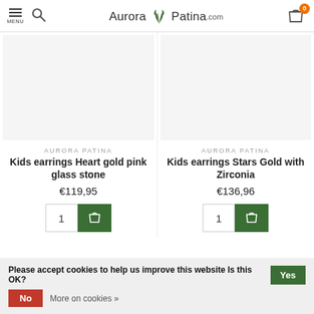Aurora Patina .com — MENU, search, cart (0)
AURORA PATINA
Kids earrings Heart gold pink glass stone
€119,95
AURORA PATINA
Kids earrings Stars Gold with Zirconia
€136,96
Please accept cookies to help us improve this website Is this OK? Yes No More on cookies »